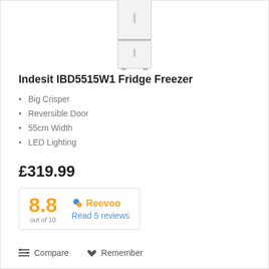[Figure (photo): Partial view of an Indesit fridge freezer product image (white appliance, bottom portion visible)]
Indesit IBD5515W1 Fridge Freezer
Big Crisper
Reversible Door
55cm Width
LED Lighting
£319.99
[Figure (other): Reevoo rating widget showing 8.8 out of 10, with Reevoo logo and 'Read 5 reviews' link]
Compare  Remember